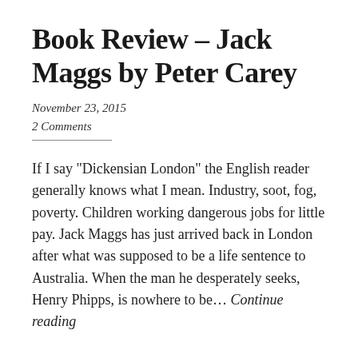Book Review – Jack Maggs by Peter Carey
November 23, 2015
2 Comments
If I say "Dickensian London" the English reader generally knows what I mean. Industry, soot, fog, poverty. Children working dangerous jobs for little pay. Jack Maggs has just arrived back in London after what was supposed to be a life sentence to Australia. When the man he desperately seeks, Henry Phipps, is nowhere to be… Continue reading